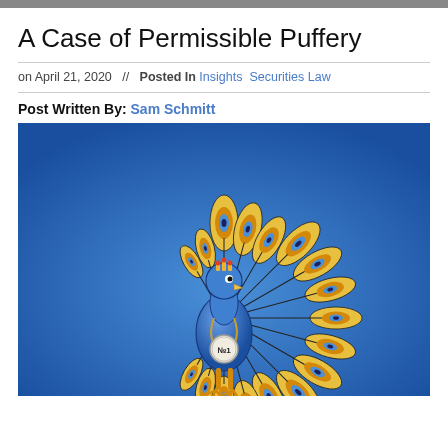A Case of Permissible Puffery
on April 21, 2020  //  Posted In Insights  Securities Law
Post Written By: Sam Schmitt
[Figure (illustration): Illustration of a peacock with a golden fan tail featuring orange and blue eye spots, blue body, wearing a crown and a 'No1' medal badge, set against a blue gradient background.]